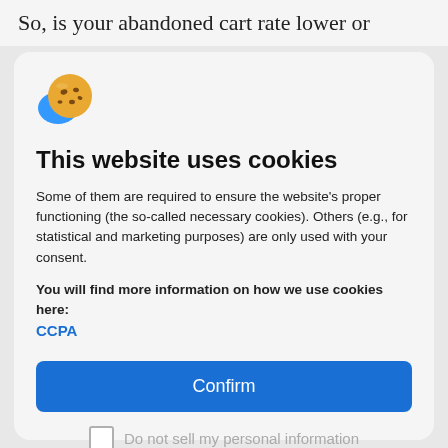So, is your abandoned cart rate lower or
[Figure (illustration): Cookie emoji icon - a cookie with a blue bite taken out of it]
This website uses cookies
Some of them are required to ensure the website's proper functioning (the so-called necessary cookies). Others (e.g., for statistical and marketing purposes) are only used with your consent.
You will find more information on how we use cookies here: CCPA
Confirm
Do not sell my personal information